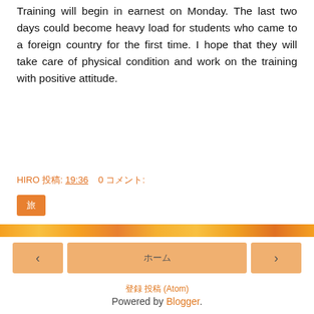Training will begin in earnest on Monday. The last two days could become heavy load for students who came to a foreign country for the first time. I hope that they will take care of physical condition and work on the training with positive attitude.
HIRO 投稿: 19:36   0 コメント:
旅
‹  ホーム  ›
登録 投稿 (Atom)
Powered by Blogger.